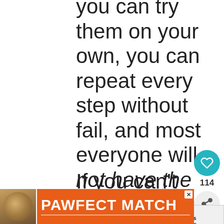you can try them on your own, you can repeat every step without fail, and most everyone will not have the same result.
If you can't publish a technique that is repeatable for at least 5% of your readers (and I'm being incredibly generous here as I'd rather see
[Figure (screenshot): Social sidebar with heart/like button (teal, 114 likes), share button. What's Next widget showing 'Blogger vs Wordpress -...']
[Figure (infographic): Orange advertisement banner for 'PAWFECT MATCH' with cat image on left, bold white text, close button (X) in upper right]